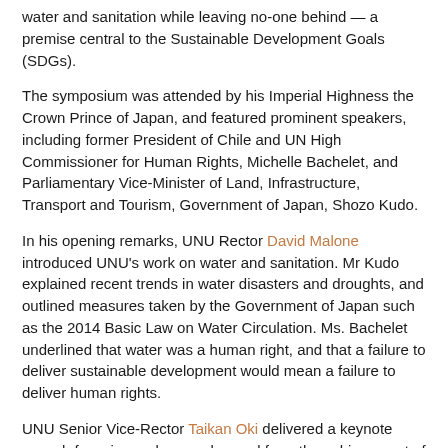water and sanitation while leaving no-one behind — a premise central to the Sustainable Development Goals (SDGs).
The symposium was attended by his Imperial Highness the Crown Prince of Japan, and featured prominent speakers, including former President of Chile and UN High Commissioner for Human Rights, Michelle Bachelet, and Parliamentary Vice-Minister of Land, Infrastructure, Transport and Tourism, Government of Japan, Shozo Kudo.
In his opening remarks, UNU Rector David Malone introduced UNU's work on water and sanitation. Mr Kudo explained recent trends in water disasters and droughts, and outlined measures taken by the Government of Japan such as the 2014 Basic Law on Water Circulation. Ms. Bachelet underlined that water was a human right, and that a failure to deliver sustainable development would mean a failure to deliver human rights.
UNU Senior Vice-Rector Taikan Oki delivered a keynote speech focusing on lessons learned from the achievement of the Millennium Development Goal for drinking water. Rio Hada of OHCHR introduced key messages from the newly published World Water Development Report 2019, which discusses access to water leaving no one